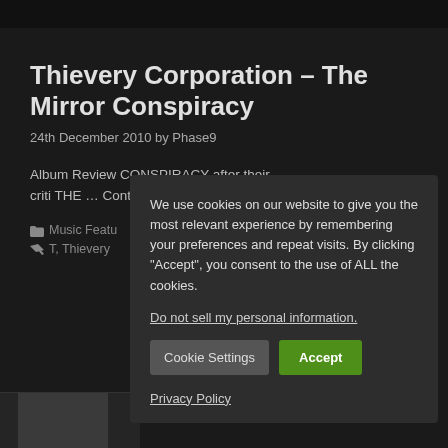Thievery Corporation – The Mirror Conspiracy
24th December 2010 by Phase9
Album Review CONSPIRACY after their criti THE … Continue
Music Featu
T, Thievery
We use cookies on our website to give you the most relevant experience by remembering your preferences and repeat visits. By clicking "Accept", you consent to the use of ALL the cookies.
Do not sell my personal information.
Cookie Settings
Accept
Privacy Policy